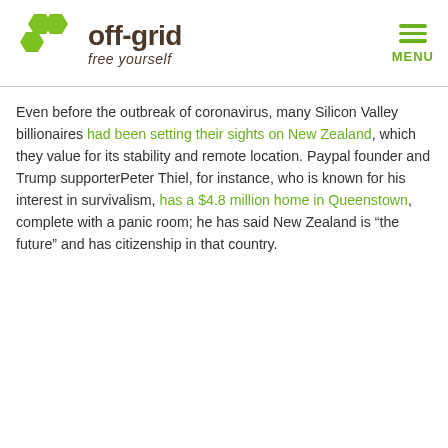off-grid free yourself [logo with menu]
Even before the outbreak of coronavirus, many Silicon Valley billionaires had been setting their sights on New Zealand, which they value for its stability and remote location. Paypal founder and Trump supporterPeter Thiel, for instance, who is known for his interest in survivalism, has a $4.8 million home in Queenstown, complete with a panic room; he has said New Zealand is “the future” and has citizenship in that country.